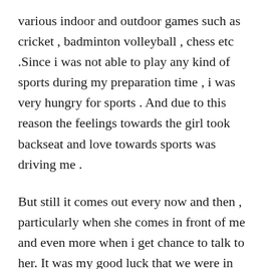various indoor and outdoor games such as cricket , badminton volleyball , chess etc .Since i was not able to play any kind of sports during my preparation time , i was very hungry for sports . And due to this reason the feelings towards the girl took backseat and love towards sports was driving me .
But still it comes out every now and then , particularly when she comes in front of me and even more when i get chance to talk to her. It was my good luck that we were in same batch of our class , batch1 , which means that our practicle classes would be held together . On the top of it her labby was very close friend of mine . So whenever i get chance i use to visit my friend and try to strike a conversation with the girl . But the problem with me was very bad at art of "continuous conversation" and my topics